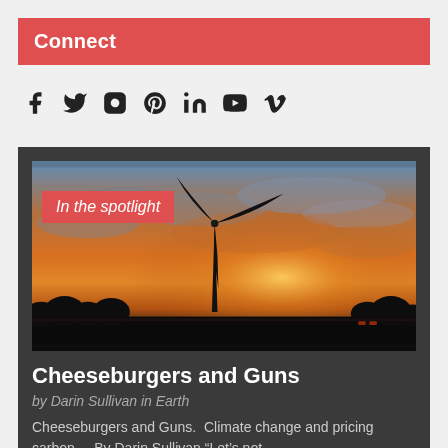Connect
[Figure (illustration): Social media icons: Facebook, Twitter, Instagram, Pinterest, LinkedIn, YouTube, Vimeo]
[Figure (photo): Wind turbine silhouetted against a dramatic orange and golden sunset sky with clouds. Overlay label reads 'In the spotlight'.]
Cheeseburgers and Guns
by Darin Sullivan in Earth
Cheeseburgers and Guns.  Climate change and pricing carbon  – By Darin Sullivan “Let’s not